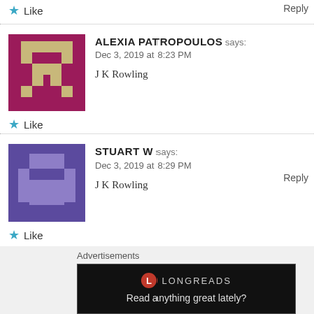Like
Reply
ALEXIA PATROPOULOS says:
Dec 3, 2019 at 8:23 PM

J K Rowling
Like
Reply
STUART W says:
Dec 3, 2019 at 8:29 PM

J K Rowling
Like
Advertisements
Read anything great lately?